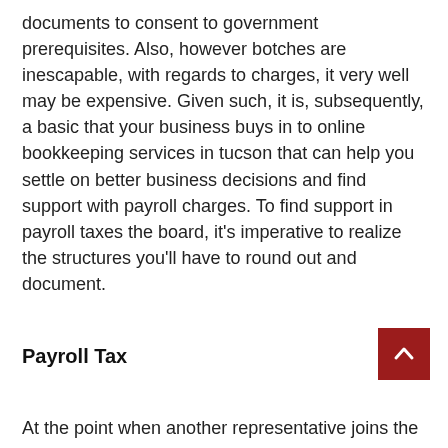documents to consent to government prerequisites. Also, however botches are inescapable, with regards to charges, it very well may be expensive. Given such, it is, subsequently, a basic that your business buys in to online bookkeeping services in tucson that can help you settle on better business decisions and find support with payroll charges. To find support in payroll taxes the board, it's imperative to realize the structures you'll have to round out and document.
Payroll Tax
At the point when another representative joins the